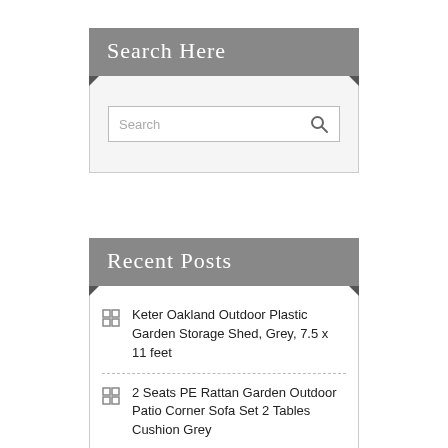Search Here
[Figure (screenshot): Search input box with magnifying glass icon]
Recent Posts
Keter Oakland Outdoor Plastic Garden Storage Shed, Grey, 7.5 x 11 feet
2 Seats PE Rattan Garden Outdoor Patio Corner Sofa Set 2 Tables Cushion Grey
Modern Outdoor Steel Furniture Build